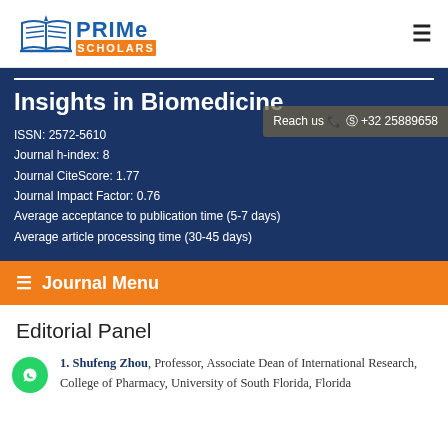Prime Scholars — [logo] — hamburger menu
Insights in Biomedicine
ISSN: 2572-5610
Journal h-index: 8
Journal CiteScore: 1.77
Journal Impact Factor: 0.76
Average acceptance to publication time (5-7 days)
Average article processing time (30-45 days)
Reach us +32 25889658
≡ Journal Menu
Editorial Panel
1. Shufeng Zhou, Professor, Associate Dean of International Research, College of Pharmacy, University of South Florida, Florida